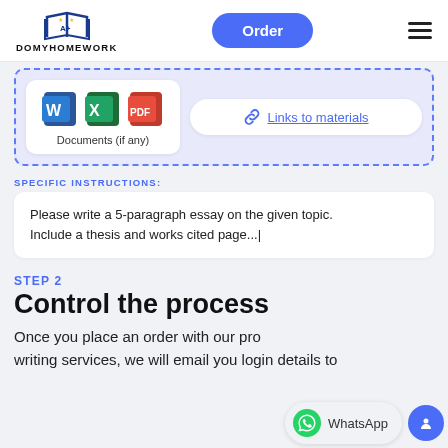[Figure (logo): DoMyHomework logo with book and A+ icon]
[Figure (screenshot): Upload area with Word, Excel, PDF icons and Links to materials button]
SPECIFIC INSTRUCTIONS:
Please write a 5-paragraph essay on the given topic. Include a thesis and works cited page...|
STEP 2
Control the process
Once you place an order with our pro writing services, we will email you login details to